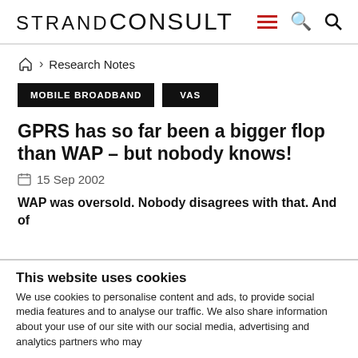STRAND CONSULT
Home > Research Notes
MOBILE BROADBAND   VAS
GPRS has so far been a bigger flop than WAP – but nobody knows!
15 Sep 2002
WAP was oversold. Nobody disagrees with that. And of
This website uses cookies
We use cookies to personalise content and ads, to provide social media features and to analyse our traffic. We also share information about your use of our site with our social media, advertising and analytics partners who may